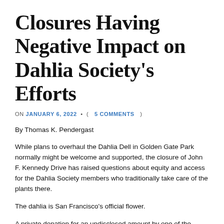Closures Having Negative Impact on Dahlia Society's Efforts
ON JANUARY 6, 2022 • ( 5 COMMENTS )
By Thomas K. Pendergast
While plans to overhaul the Dahlia Dell in Golden Gate Park normally might be welcome and supported, the closure of John F. Kennedy Drive has raised questions about equity and access for the Dahlia Society members who traditionally take care of the plants there.
The dahlia is San Francisco's official flower.
A private donation for an undisclosed amount by one of the